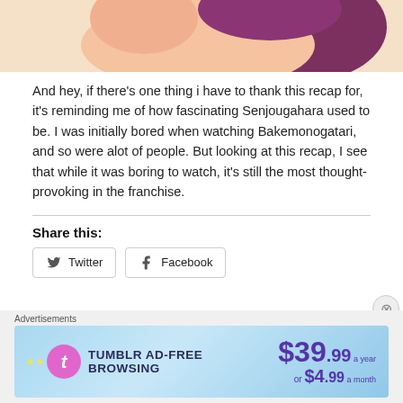[Figure (illustration): Top portion of an anime illustration showing a character with purple/maroon hair and pink skin tones, cropped at the top of the page.]
And hey, if there's one thing i have to thank this recap for, it's reminding me of how fascinating Senjougahara used to be. I was initially bored when watching Bakemonogatari, and so were alot of people. But looking at this recap, I see that while it was boring to watch, it's still the most thought-provoking in the franchise.
Share this:
Twitter
Facebook
Advertisements
[Figure (other): Tumblr ad-free browsing advertisement banner showing $39.99 a year or $4.99 a month pricing with Tumblr logo.]